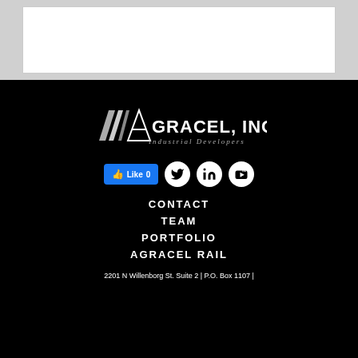[Figure (screenshot): White content box area on grey background at top of page]
[Figure (logo): Agracel, Inc. Industrial Developers logo - white diagonal lines with company name]
[Figure (infographic): Social media icons row: Facebook Like button (0 likes), Twitter, LinkedIn, YouTube]
CONTACT
TEAM
PORTFOLIO
AGRACEL RAIL
2201 N Willenborg St. Suite 2 | P.O. Box 1107 |